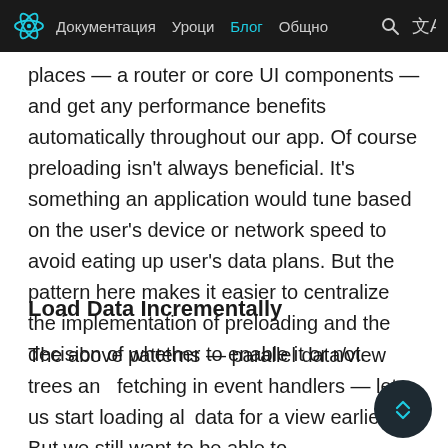Документация   Уроци   Блог   Общно
places — a router or core UI components — and get any performance benefits automatically throughout our app. Of course preloading isn't always beneficial. It's something an application would tune based on the user's device or network speed to avoid eating up user's data plans. But the pattern here makes it easier to centralize the implementation of preloading and the decision of whether to enable it or not.
Load Data Incrementally
The above patterns — parallel data/view trees and fetching in event handlers — let us start loading all data for a view earlier. But we still want to be able to show more important parts of the view without waiting for